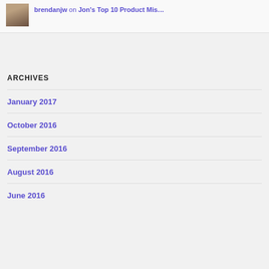brendanjw on Jon's Top 10 Product Mis…
ARCHIVES
January 2017
October 2016
September 2016
August 2016
June 2016